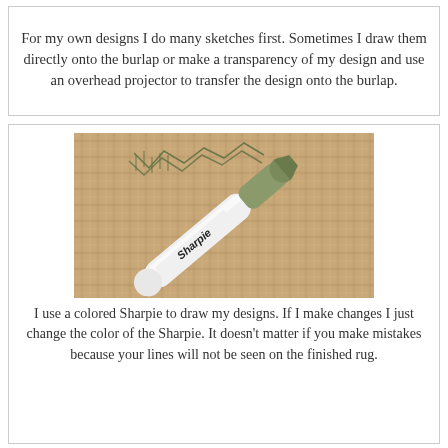For my own designs I do many sketches first. Sometimes I draw them directly onto the burlap or make a transparency of my design and use an overhead projector to transfer the design onto the burlap.
[Figure (photo): Close-up photo of a Sharpie marker lying on burlap fabric with a hand-drawn design sketched in marker on the burlap.]
I use a colored Sharpie to draw my designs.  If I make changes I just change the color of the Sharpie.  It doesn't matter if you make mistakes because your lines will not be seen on the finished rug.